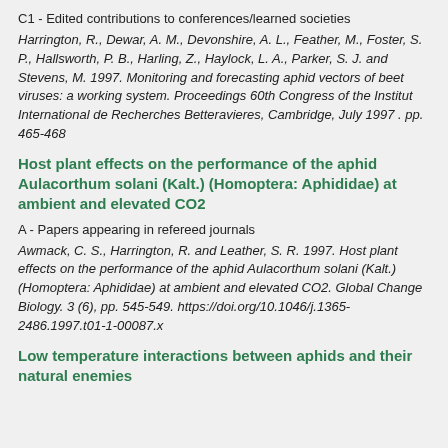C1 - Edited contributions to conferences/learned societies
Harrington, R., Dewar, A. M., Devonshire, A. L., Feather, M., Foster, S. P., Hallsworth, P. B., Harling, Z., Haylock, L. A., Parker, S. J. and Stevens, M. 1997. Monitoring and forecasting aphid vectors of beet viruses: a working system. Proceedings 60th Congress of the Institut International de Recherches Betteravieres, Cambridge, July 1997 . pp. 465-468
Host plant effects on the performance of the aphid Aulacorthum solani (Kalt.) (Homoptera: Aphididae) at ambient and elevated CO2
A - Papers appearing in refereed journals
Awmack, C. S., Harrington, R. and Leather, S. R. 1997. Host plant effects on the performance of the aphid Aulacorthum solani (Kalt.) (Homoptera: Aphididae) at ambient and elevated CO2. Global Change Biology. 3 (6), pp. 545-549. https://doi.org/10.1046/j.1365-2486.1997.t01-1-00087.x
Low temperature interactions between aphids and their natural enemies